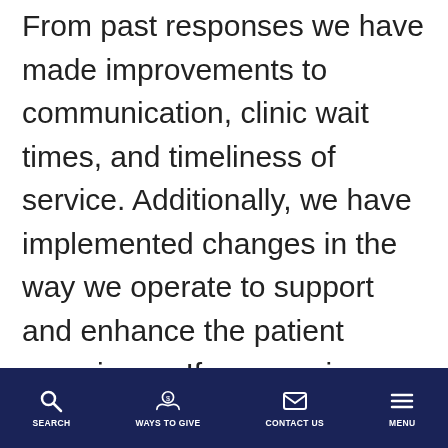From past responses we have made improvements to communication, clinic wait times, and timeliness of service. Additionally, we have implemented changes in the way we operate to support and enhance the patient experience. If you receive a survey in the mail or by email, please be sure to return it upon completion.
SEARCH | WAYS TO GIVE | CONTACT US | MENU